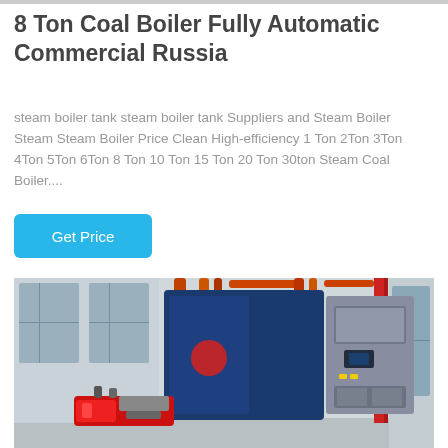8 Ton Coal Boiler Fully Automatic Commercial Russia
steam boiler tank steam boiler tank Suppliers and Steam Boiler Steam Steam Boiler Price Clean High-efficiency 1 Ton 2Ton 3Ton 4Ton 5Ton 6Ton 8 Ton 10 Ton 15 Ton 20 Ton 30ton Steam Coal Boiler....
Get Price
[Figure (photo): Industrial coal boiler unit – large blue and silver cabinet-style boiler with red pipes on top, burner assembly at the front bottom, installed inside an industrial facility. WhatsApp button overlay in bottom-left corner.]